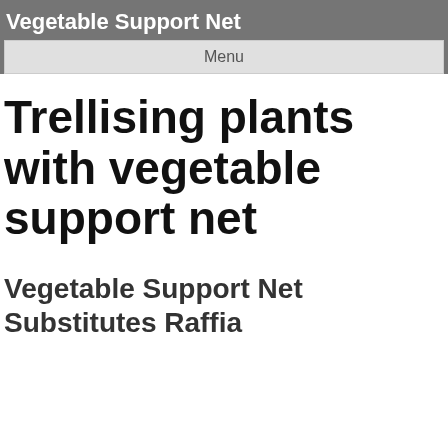Vegetable Support Net
Menu
Trellising plants with vegetable support net
Vegetable Support Net Substitutes Raffia